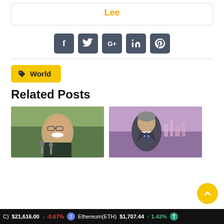Lee
[Figure (infographic): Social share buttons: Facebook, Twitter, Google+, LinkedIn, Pinterest — dark gray rounded square icons]
World
Related Posts
[Figure (photo): Photo of John Bolton speaking at microphones outdoors]
[Figure (photo): Photo of a man in a suit seated in a studio with pink/purple background]
$21,616.00 -0.67%   Ethereum(ETH) $1,707.44 ↑ 1.42%